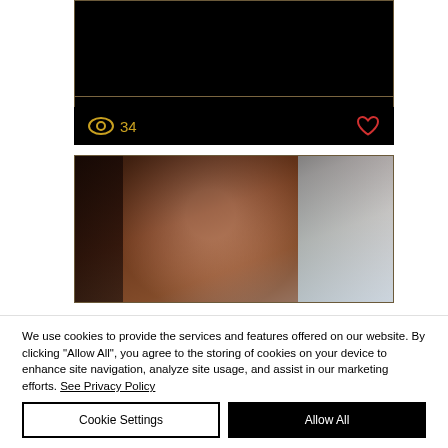[Figure (screenshot): Dark card interface showing a black content area with a horizontal divider line, an eye icon with count '34' and a heart icon in red on the right side]
[Figure (photo): Close-up photo of a man's face viewed from above, sitting in a car. The image shows his forehead and face with a dark, moody color grading. A light background is visible through the car window on the right.]
We use cookies to provide the services and features offered on our website. By clicking "Allow All", you agree to the storing of cookies on your device to enhance site navigation, analyze site usage, and assist in our marketing efforts. See Privacy Policy
Cookie Settings
Allow All